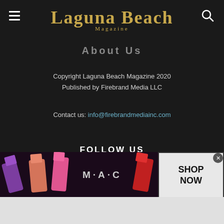Laguna Beach Magazine
About Us
Copyright Laguna Beach Magazine 2020
Published by Firebrand Media LLC
Contact us: info@firebrandmediainc.com
FOLLOW US
[Figure (infographic): Three social media icon boxes: Facebook (f), Instagram (camera), Twitter (bird)]
[Figure (photo): MAC Cosmetics advertisement banner showing lipsticks with SHOP NOW button]